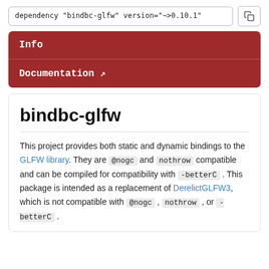dependency "bindbc-glfw" version="~>0.10.1"
Info
Documentation ↗
bindbc-glfw
This project provides both static and dynamic bindings to the GLFW library. They are @nogc and nothrow compatible and can be compiled for compatibility with -betterC. This package is intended as a replacement of DerelictGLFW3, which is not compatible with @nogc, nothrow, or -betterC.